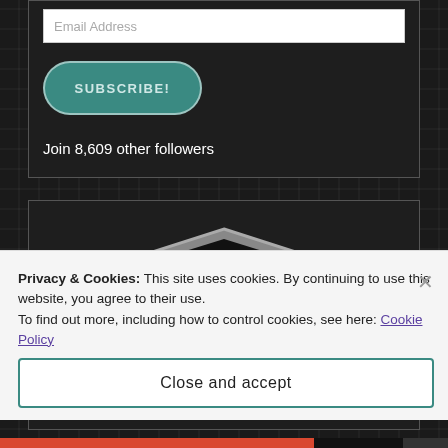Email Address
SUBSCRIBE!
Join 8,609 other followers
[Figure (logo): Shield-shaped logo with 'book' text in white and purple on dark background]
Privacy & Cookies: This site uses cookies. By continuing to use this website, you agree to their use.
To find out more, including how to control cookies, see here: Cookie Policy
Close and accept